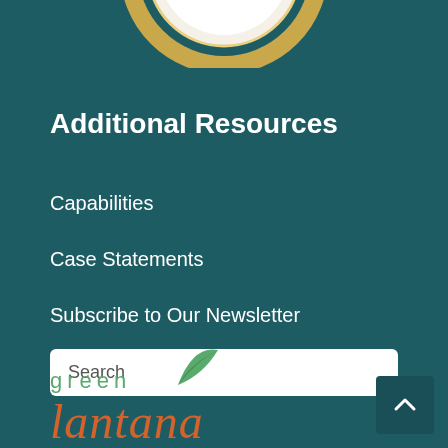[Figure (illustration): Partial gold/yellow circular badge or medal visible at top of page]
Additional Resources
Capabilities
Case Statements
Subscribe to Our Newsletter
Search
[Figure (logo): Green Lantana logo with green leaf icon and stylized cursive orange text 'Lantana']